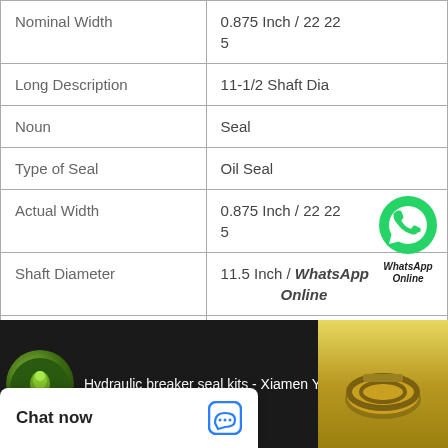| Property | Value |
| --- | --- |
| Nominal Width | 0.875 Inch / 22 22 5 |
| Long Description | 11-1/2 Shaft Dia |
| Noun | Seal |
| Type of Seal | Oil Seal |
| Actual Width | 0.875 Inch / 22 22 5 |
| Shaft Diameter | 11.5 Inch / WhatsApp Online |
| Other Features | Large / With Inner C |
[Figure (screenshot): Video thumbnail for Hydraulic breaker seal kits - Xiamen Yonglianf]
Chat now